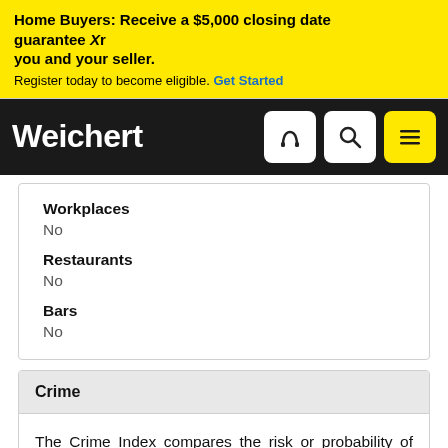Home Buyers: Receive a $5,000 closing date guarantee ✕r you and your seller. Register today to become eligible. Get Started
Weichert
Workplaces
No
Restaurants
No
Bars
No
Crime
The Crime Index compares the risk or probability of future occurrence of certain types of crime in this community as compared to the national average. The